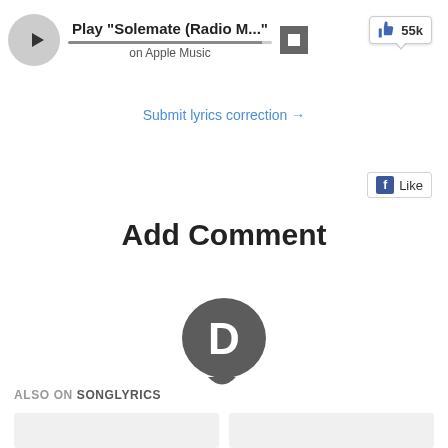[Figure (screenshot): Music player bar with play button, track title 'Play "Solemate (Radio M..."' on Apple Music, and a stop button. A tooltip shows 55k likes.]
Submit lyrics correction →
[Figure (screenshot): Facebook Like button]
Add Comment
[Figure (logo): Disqus speech bubble logo with letter D]
ALSO ON SONGLYRICS
[Figure (screenshot): Two content cards at the bottom of the page]